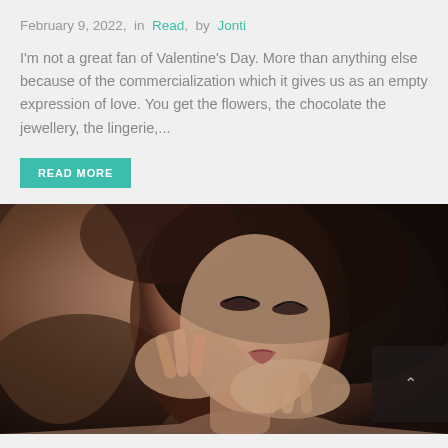February 9, 2022,  in  Read,  by  Jonti
I'm not a great fan of Valentine’s Day. More than anything else because of the commercialization which it gives us as an empty expression of love. You get the flowers, the chocolate the jewellery, the lingerie,...
READ MORE
[Figure (photo): Close-up photograph of a woman with dark hair, eyes closed, head tilted back, with hands near her face/neck. Dark moody lighting with brown/dark tones.]